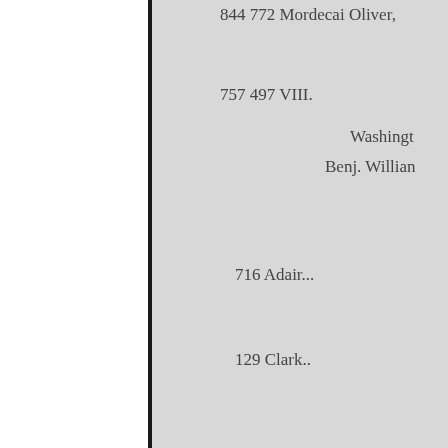844 772 Mordecai Oliver,
757 497 VIII.
Washington
Benj. William
716 Adair...
129 Clark..
Saline.. .... 350
Wabaunsee... 341
202
972 461
921 296 .1020
Wilson...
340
Woodson
354